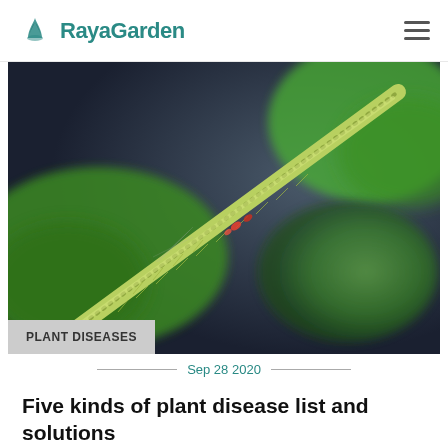RayaGarden
[Figure (photo): Close-up macro photo of a plant stem with green leaves. The stem is yellowish-green with small red/orange spots visible on it, possibly plant disease or parasites. Background is dark grey/blue (bokeh). Leaves visible on left and right sides.]
PLANT DISEASES
Sep 28 2020
Five kinds of plant disease list and solutions